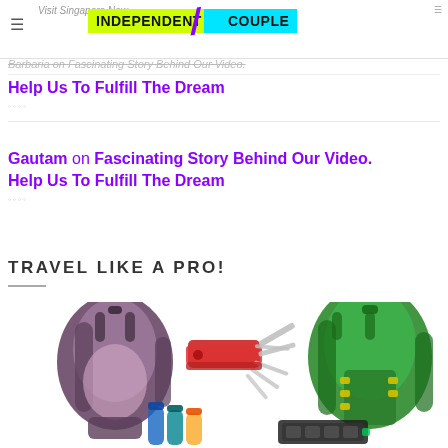Visit Singapore Now | INDEPENDENT COUPLE
Barbaria on Fascinating Story Behind Our Video.
Help Us To Fulfill The Dream
Gautam on Fascinating Story Behind Our Video. Help Us To Fulfill The Dream
TRAVEL LIKE A PRO!
[Figure (photo): Travel gear photo collage showing a purple backpack, a red Swiss Army knife, a green hiking backpack, small bottles/containers, and a portable power bank on white background]